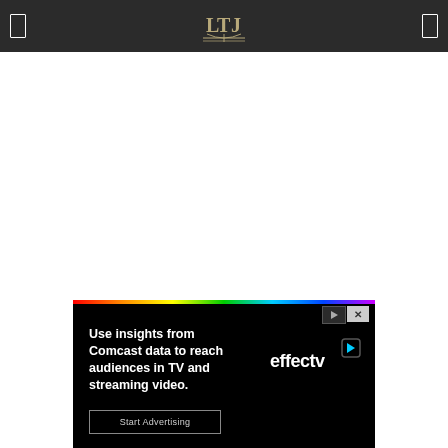LTJ logo navigation bar
[Figure (illustration): White blank content area below navigation bar]
[Figure (screenshot): Effectv advertisement banner: 'Use insights from Comcast data to reach audiences in TV and streaming video.' with Start Advertising button and effectv logo on black background with rainbow top bar]